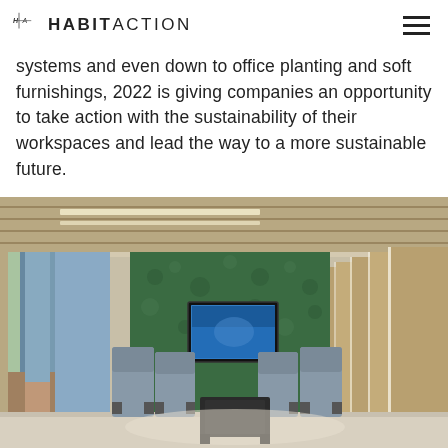HABITACTION
systems and even down to office planting and soft furnishings, 2022 is giving companies an opportunity to take action with the sustainability of their workspaces and lead the way to a more sustainable future.
[Figure (photo): Interior of a modern office lounge area featuring wooden slat ceiling with linear LED lighting, a living green moss wall with a mounted TV, and grey upholstered high-back seating arranged symmetrically, with large glass windows on the left showing an outdoor view.]